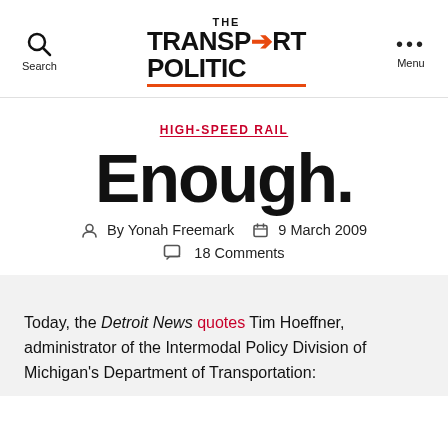The Transport Politic — Search | Menu
HIGH-SPEED RAIL
Enough.
By Yonah Freemark   9 March 2009   18 Comments
Today, the Detroit News quotes Tim Hoeffner, administrator of the Intermodal Policy Division of Michigan's Department of Transportation: